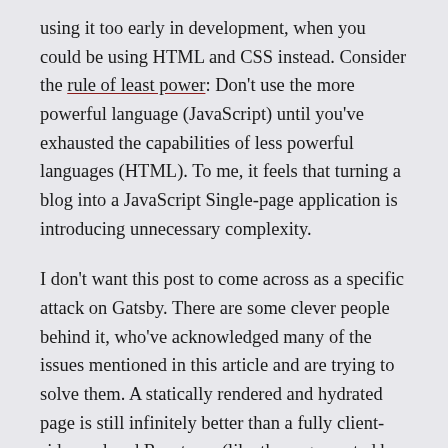using it too early in development, when you could be using HTML and CSS instead. Consider the rule of least power: Don't use the more powerful language (JavaScript) until you've exhausted the capabilities of less powerful languages (HTML). To me, it feels that turning a blog into a JavaScript Single-page application is introducing unnecessary complexity.

I don't want this post to come across as a specific attack on Gatsby. There are some clever people behind it, who've acknowledged many of the issues mentioned in this article and are trying to solve them. A statically rendered and hydrated page is still infinitely better than a fully client-side rendered React app (like those generated by create-react-app) which is useless without JavaScript. I do have issues with the way that its JavaScript-heavy, Single page app approach is advertised, including in Gatsby's own marketing, as